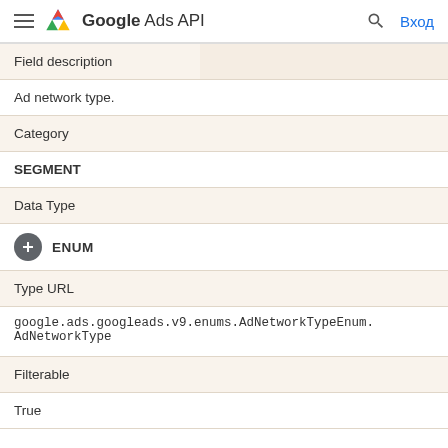Google Ads API  Вход
| Field description |  |
| --- | --- |
| Ad network type. |  |
| Category |  |
| SEGMENT |  |
| Data Type |  |
| ENUM |  |
| Type URL |  |
| google.ads.googleads.v9.enums.AdNetworkTypeEnum.AdNetworkType |  |
| Filterable |  |
| True |  |